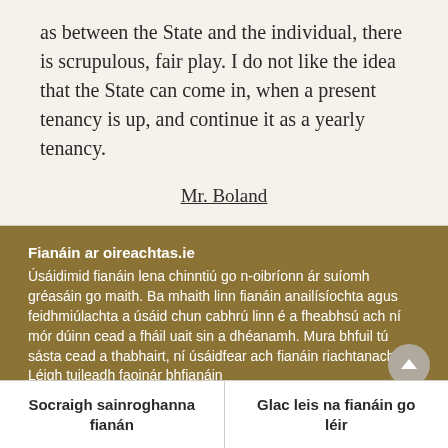as between the State and the individual, there is scrupulous, fair play. I do not like the idea that the State can come in, when a present tenancy is up, and continue it as a yearly tenancy.
Mr. Boland
Fianáin ar oireachtas.ie
Úsáidimid fianáin lena chinntiú go n-oibríonn ár suíomh gréasáin go maith. Ba mhaith linn fianáin anailísíochta agus feidhmiúlachta a úsáid chun cabhrú linn é a fheabhsú ach ní mór dúinn cead a fháil uait sin a dhéanamh. Mura bhfuil tú sásta cead a thabhairt, ní úsáidfear ach fianáin riachtanacha. Léigh tuileadh faoinár bhfianáin
Socraigh sainroghanna fianán
Glac leis na fianáin go léir